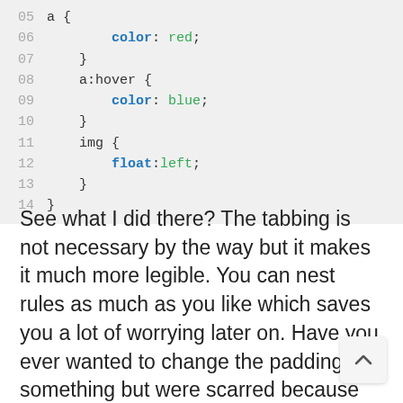[Figure (screenshot): CSS code block showing lines 05-14 with syntax highlighting. Line 05: a {, Line 06: color: red;, Line 07: }, Line 08: a:hover {, Line 09: color: blue;, Line 10: }, Line 11: img {, Line 12: float:left;, Line 13: }, Line 14: }]
See what I did there? The tabbing is not necessary by the way but it makes it much more legible. You can nest rules as much as you like which saves you a lot of worrying later on. Have you ever wanted to change the padding of something but were scarred because you didn't know exactly what elements it might affect? By using nesting can take a lot of the guesswork out of your CSS.